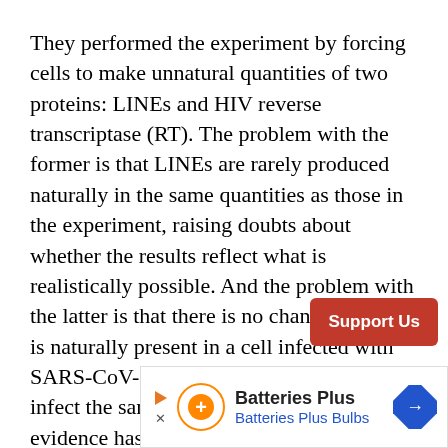They performed the experiment by forcing cells to make unnatural quantities of two proteins: LINEs and HIV reverse transcriptase (RT). The problem with the former is that LINEs are rarely produced naturally in the same quantities as those in the experiment, raising doubts about whether the results reflect what is realistically possible. And the problem with the latter is that there is no chance HIV RT is naturally present in a cell infected with SARS-CoV-2 because the viruses do not infect the same cell types. The experimental evidence has some big loopholes that d[o not support the] claim.